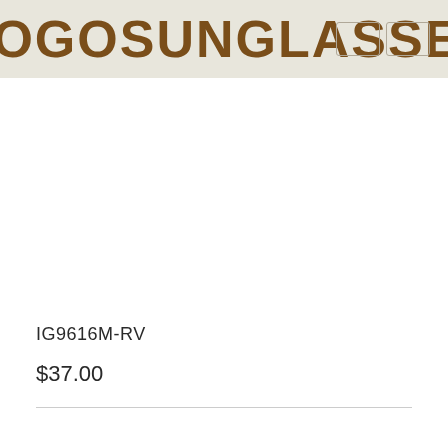GOGOSUNGLASSES
IG9616M-RV
$37.00